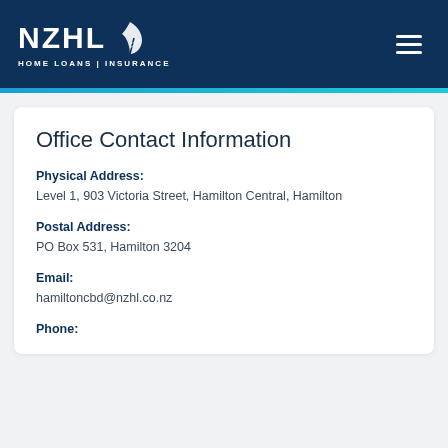[Figure (logo): NZHL Home Loans | Insurance logo in white on dark navy background, with fern leaf icon]
Office Contact Information
Physical Address: Level 1, 903 Victoria Street, Hamilton Central, Hamilton
Postal Address: PO Box 531, Hamilton 3204
Email: hamiltoncbd@nzhl.co.nz
Phone: